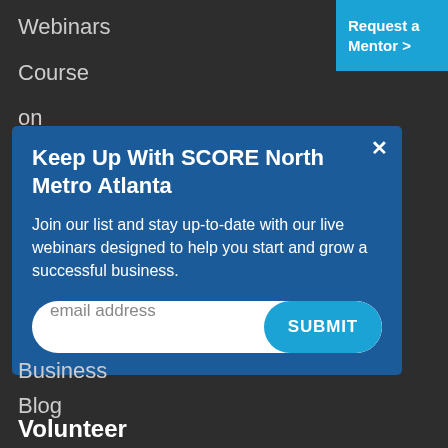Webinars
Course on Demand
[Figure (screenshot): Blue 'Request a Mentor >' button in top right corner]
Browse
Keep Up With SCORE North Metro Atlanta
Join our list and stay up-to-date with our live webinars designed to help you start and grow a successful business.
email address  SUBMIT
Business
Blog
Volunteer